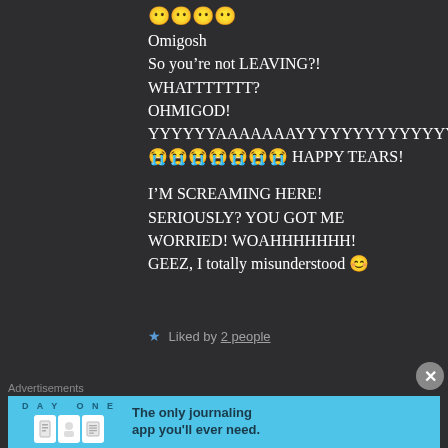😶😶😶😶
Omigosh
So you're not LEAVING?!
WHATTTTTTT?
OHMIGOD!
YYYYYYAAAAAAAAYYYYYYYYYYYYYYYYYY
😭😭😭😭😭😭😭 HAPPY TEARS!

I'M SCREAMING HERE! SERIOUSLY? YOU GOT ME WORRIED! WOAHHHHHHH! GEEZ, I totally misunderstood 😊
★ Liked by 2 people
Advertisements
[Figure (infographic): DAY ONE app advertisement banner in blue. Shows 'D A Y O N E' text, three icons (book, person, list), and text 'The only journaling app you'll ever need.']